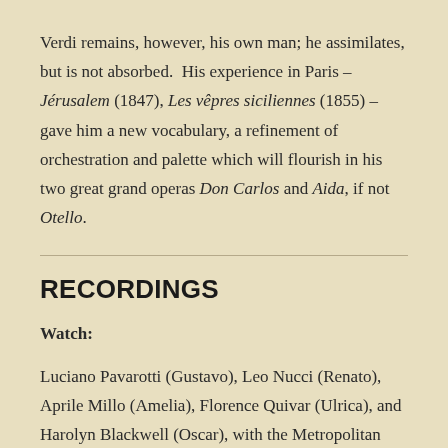Verdi remains, however, his own man; he assimilates, but is not absorbed.  His experience in Paris – Jérusalem (1847), Les vêpres siciliennes (1855) – gave him a new vocabulary, a refinement of orchestration and palette which will flourish in his two great grand operas Don Carlos and Aida, if not Otello.
RECORDINGS
Watch:
Luciano Pavarotti (Gustavo), Leo Nucci (Renato), Aprile Millo (Amelia), Florence Quivar (Ulrica), and Harolyn Blackwell (Oscar), with the Metropolitan